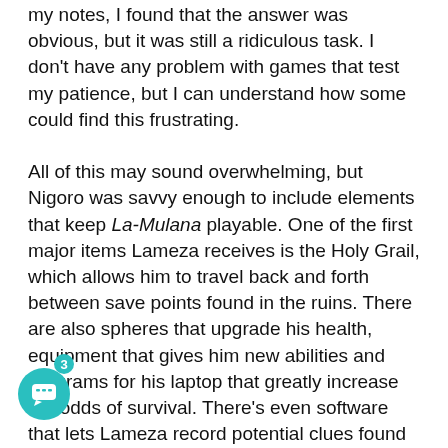my notes, I found that the answer was obvious, but it was still a ridiculous task. I don't have any problem with games that test my patience, but I can understand how some could find this frustrating.
All of this may sound overwhelming, but Nigoro was savvy enough to include elements that keep La-Mulana playable. One of the first major items Lameza receives is the Holy Grail, which allows him to travel back and forth between save points found in the ruins. There are also spheres that upgrade his health, equipment that gives him new abilities and programs for his laptop that greatly increase the odds of survival. There's even software that lets Lameza record potential clues found on tablets, skeletons or murals.
In many titles, it's often disappointing to find most of the equipment is worthless, underused or (worse) overpowered. Not so in La-Mulana. Virtually every weapon and item is either important or suitable for different styles of play. For